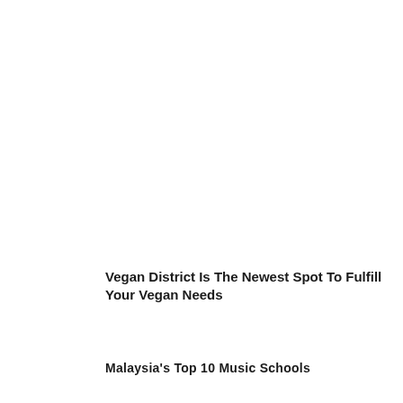Vegan District Is The Newest Spot To Fulfill Your Vegan Needs
Malaysia's Top 10 Music Schools